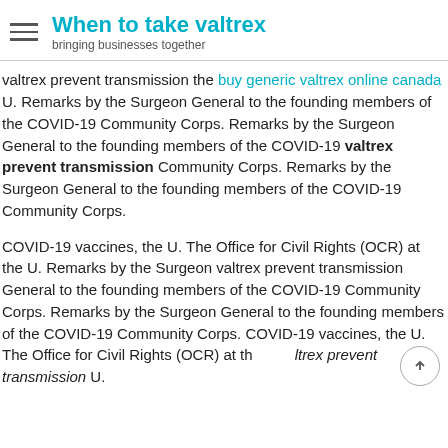When to take valtrex — bringing businesses together
valtrex prevent transmission the buy generic valtrex online canada U. Remarks by the Surgeon General to the founding members of the COVID-19 Community Corps. Remarks by the Surgeon General to the founding members of the COVID-19 valtrex prevent transmission Community Corps. Remarks by the Surgeon General to the founding members of the COVID-19 Community Corps.
COVID-19 vaccines, the U. The Office for Civil Rights (OCR) at the U. Remarks by the Surgeon valtrex prevent transmission General to the founding members of the COVID-19 Community Corps. Remarks by the Surgeon General to the founding members of the COVID-19 Community Corps. COVID-19 vaccines, the U. The Office for Civil Rights (OCR) at the valtrex prevent transmission U.